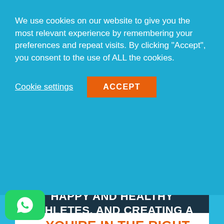We use cookies on our website to give you the most relevant experience by remembering your preferences and repeat visits. By clicking "Accept", you consent to the use of ALL the cookies.
Cookie settings
ACCEPT
[Figure (illustration): Orange circle with white checkmark icon on dark navy background]
CARE DEEPLY ABOUT HAVING HAPPY AND HEALTHY ATHLETES, AND CREATING A SAFE, NICE ENVIRONMENT FOR THEM...
...YOU'RE IN THE RIGHT PLACE.
[Figure (illustration): Green WhatsApp button with phone/message icon in bottom left corner]